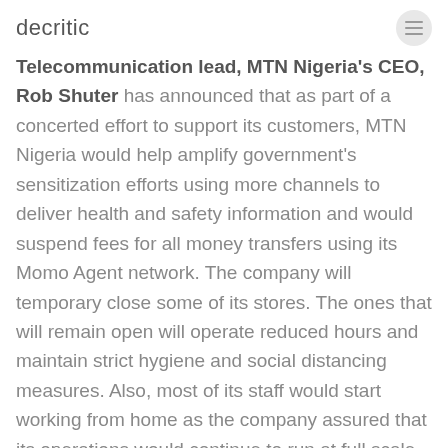decritic
Telecommunication lead, MTN Nigeria's CEO, Rob Shuter has announced that as part of a concerted effort to support its customers, MTN Nigeria would help amplify government's sensitization efforts using more channels to deliver health and safety information and would suspend fees for all money transfers using its Momo Agent network. The company will temporary close some of its stores. The ones that will remain open will operate reduced hours and maintain strict hygiene and social distancing measures. Also, most of its staff would start working from home as the company assured that its operations would continue to run at full scale with essential staff working limited hours on site.